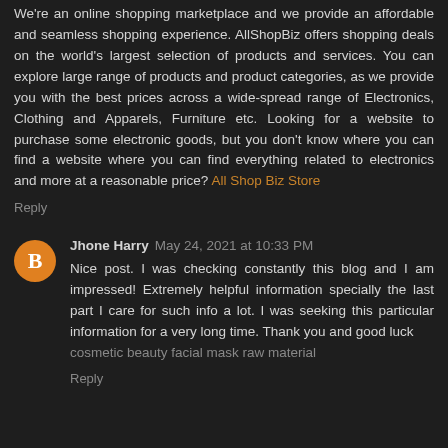We're an online shopping marketplace and we provide an affordable and seamless shopping experience. AllShopBiz offers shopping deals on the world's largest selection of products and services. You can explore large range of products and product categories, as we provide you with the best prices across a wide-spread range of Electronics, Clothing and Apparels, Furniture etc. Looking for a website to purchase some electronic goods, but you don't know where you can find a website where you can find everything related to electronics and more at a reasonable price? All Shop Biz Store
Reply
Jhone Harry  May 24, 2021 at 10:33 PM
Nice post. I was checking constantly this blog and I am impressed! Extremely helpful information specially the last part I care for such info a lot. I was seeking this particular information for a very long time. Thank you and good luck cosmetic beauty facial mask raw material
Reply